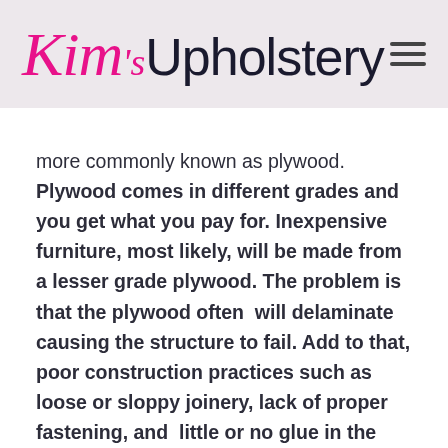Kim's Upholstery
more commonly known as plywood. Plywood comes in different grades and you get what you pay for. Inexpensive furniture, most likely, will be made from a lesser grade plywood. The problem is that the plywood often  will delaminate causing the structure to fail. Add to that, poor construction practices such as loose or sloppy joinery, lack of proper fastening, and  little or no glue in the joints. Some of the more reputable  furniture